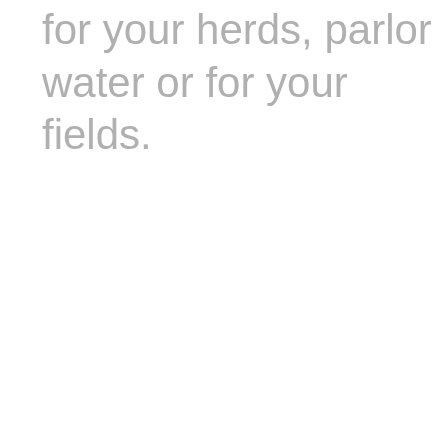for your herds, parlor water or for your fields.